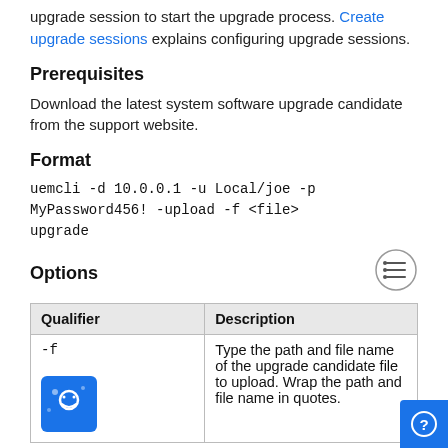upgrade session to start the upgrade process. Create upgrade sessions explains configuring upgrade sessions.
Prerequisites
Download the latest system software upgrade candidate from the support website.
Format
Options
| Qualifier | Description |
| --- | --- |
| -f | Type the path and file name of the upgrade candidate file to upload. Wrap the path and file name in quotes. |